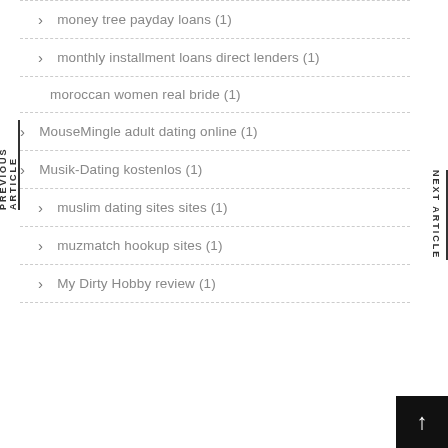money tree payday loans (1)
monthly installment loans direct lenders (1)
moroccan women real bride (1)
MouseMingle adult dating online (1)
Musik-Dating kostenlos (1)
muslim dating sites sites (1)
muzmatch hookup sites (1)
My Dirty Hobby review (1)